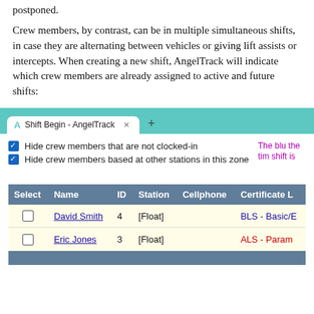postponed.
Crew members, by contrast, can be in multiple simultaneous shifts, in case they are alternating between vehicles or giving lift assists or intercepts. When creating a new shift, AngelTrack will indicate which crew members are already assigned to active and future shifts:
[Figure (screenshot): Browser screenshot showing AngelTrack Shift Begin page with checkboxes to hide crew members not clocked-in or based at other stations, and a table listing David Smith (ID 4, Float, BLS - Basic/E) and Eric Jones (ID 3, Float, ALS - Param), with annotation text in purple partially visible on right edge.]